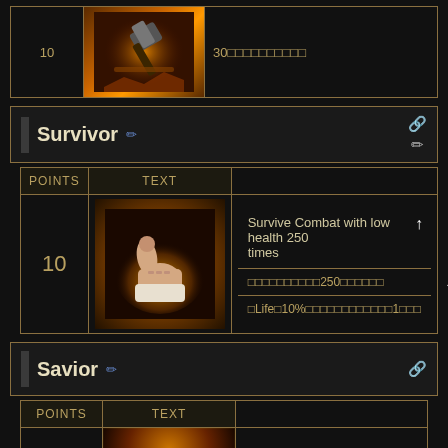|  |  |  |
| --- | --- | --- |
| 10 | [hammer image] | 30□□□□□□□□□□ |
Survivor
| POINTS | TEXT |
| --- | --- |
| 10 | Survive Combat with low health 250 times | □□□□□□□□□□250□□□□□□ | □Life□10%□□□□□□□□□□□□1□□□ |
Savior
| POINTS | TEXT |
| --- | --- |